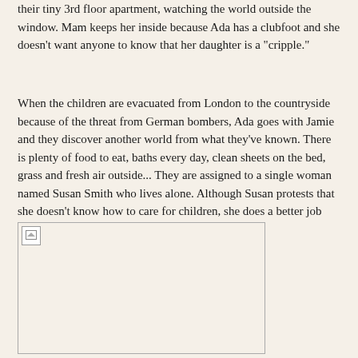their tiny 3rd floor apartment, watching the world outside the window. Mam keeps her inside because Ada has a clubfoot and she doesn't want anyone to know that her daughter is a "cripple."
When the children are evacuated from London to the countryside because of the threat from German bombers, Ada goes with Jamie and they discover another world from what they've known. There is plenty of food to eat, baths every day, clean sheets on the bed, grass and fresh air outside... They are assigned to a single woman named Susan Smith who lives alone. Although Susan protests that she doesn't know how to care for children, she does a better job than Mam right from the start.
[Figure (photo): A broken/missing image placeholder shown as a bordered rectangle with a small broken image icon in the top-left corner.]